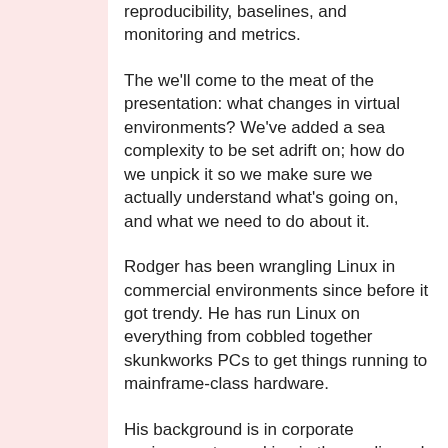reproducibility, baselines, and monitoring and metrics.
The we'll come to the meat of the presentation: what changes in virtual environments? We've added a sea complexity to be set adrift on; how do we unpick it so we make sure we actually understand what's going on, and what we need to do about it.
Rodger has been wrangling Linux in commercial environments since before it got trendy. He has run Linux on everything from cobbled together skunkworks PCs to get things running to mainframe-class hardware.
His background is in corporate environments, working in the media and finance industries. As well as the Holy Path of systems administration he has worked on the dark side of development; please